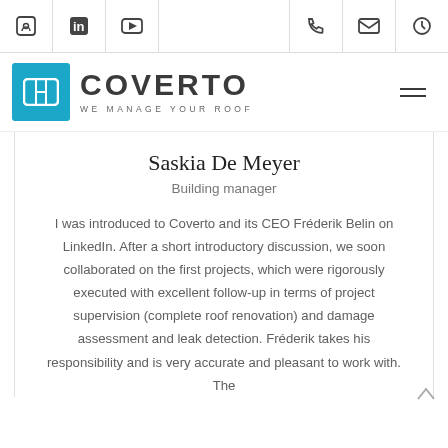Coverto — We Manage Your Roof — navigation bar with social/contact icons and logo
Saskia De Meyer
Building manager
I was introduced to Coverto and its CEO Fréderik Belin on LinkedIn. After a short introductory discussion, we soon collaborated on the first projects, which were rigorously executed with excellent follow-up in terms of project supervision (complete roof renovation) and damage assessment and leak detection. Fréderik takes his responsibility and is very accurate and pleasant to work with. The